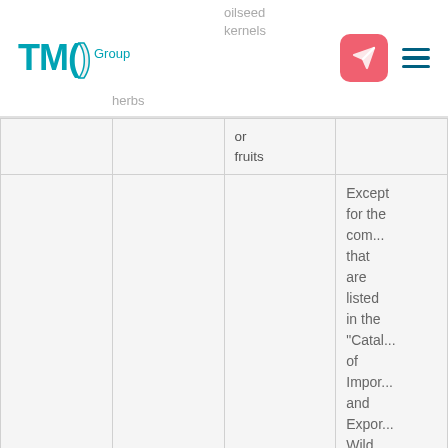TMC() Group
| [col1 truncated] | nuts / herbs | oilseed kernels / or fruits | [col4] |
| --- | --- | --- | --- |
|  |  | or
fruits |  |
|  |  |  | Except for the com... that are listed in the "Catal... of Impor... and Expor... Wild Fauna and Fl... |